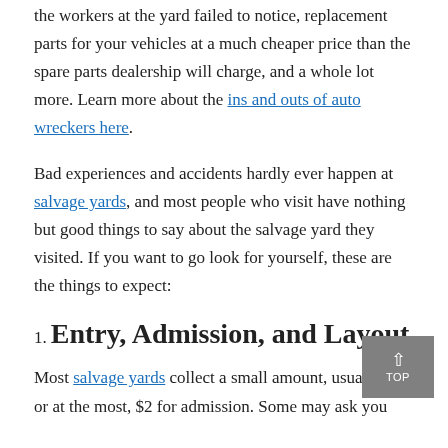the workers at the yard failed to notice, replacement parts for your vehicles at a much cheaper price than the spare parts dealership will charge, and a whole lot more. Learn more about the ins and outs of auto wreckers here.
Bad experiences and accidents hardly ever happen at salvage yards, and most people who visit have nothing but good things to say about the salvage yard they visited. If you want to go look for yourself, these are the things to expect:
1. Entry, Admission, and Layout
Most salvage yards collect a small amount, usually $1, or at the most, $2 for admission. Some may ask you